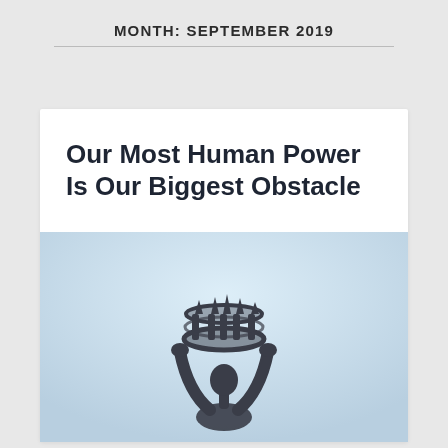MONTH: SEPTEMBER 2019
Our Most Human Power Is Our Biggest Obstacle
[Figure (photo): A dark bronze statue of a human figure holding a crown above their head with both arms raised, photographed against a pale blue-white sky background.]